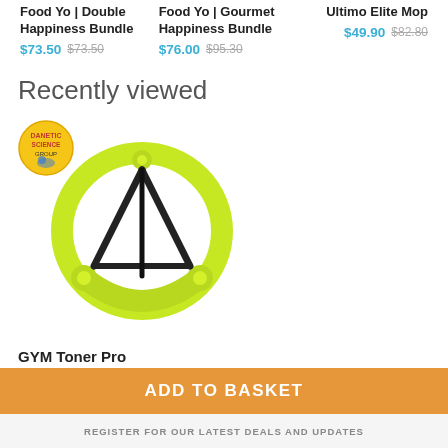Food Yo | Double Happiness Bundle
$73.50  $73.50
Food Yo | Gourmet Happiness Bundle
$76.00  $95.30
Ultimo Elite Mop
$49.90  $82.80
Recently viewed
[Figure (photo): GYM Toner Pro product image with a yellow badge overlay in top left, showing a lime green resistance ring trainer with black straps]
GYM Toner Pro
$99.90  $99.90
ADD TO BASKET
REGISTER FOR OUR LATEST DEALS AND UPDATES